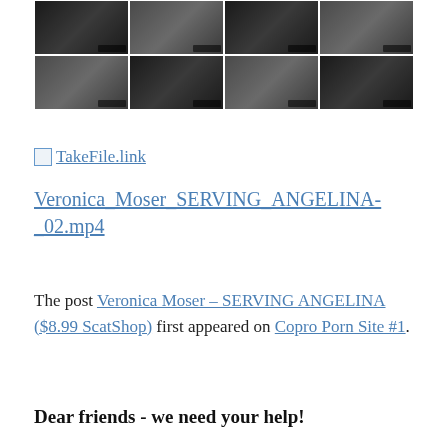[Figure (photo): Grid of 8 video thumbnail images arranged in 2 rows of 4, showing dark scenes with timestamp overlays]
[Figure (other): Small broken image icon followed by link text 'TakeFile.link' in blue underlined text]
Veronica_Moser_SERVING_ANGELINA-_02.mp4
The post Veronica Moser – SERVING ANGELINA ($8.99 ScatShop) first appeared on Copro Porn Site #1.
Dear friends - we need your help!